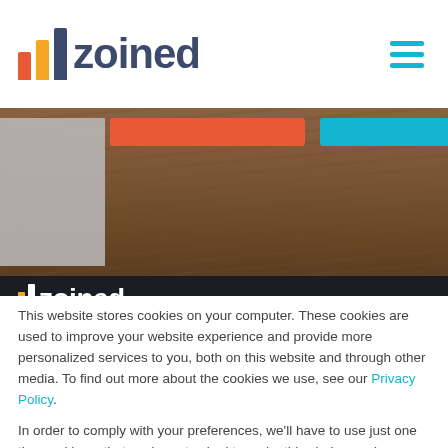[Figure (screenshot): Zoined website header with logo (colored bar chart icon and 'zoined' text in dark blue) on white background, hamburger menu icon in teal on the right]
[Figure (photo): Partial website screenshot showing a wooden table surface with colored button strips (orange and teal) overlaid, and a dark navigation strip with white Zoined logo]
This website stores cookies on your computer. These cookies are used to improve your website experience and provide more personalized services to you, both on this website and through other media. To find out more about the cookies we use, see our Privacy Policy.
In order to comply with your preferences, we'll have to use just one tiny cookie so that you're not asked to make this choice again.
Accept
Decline